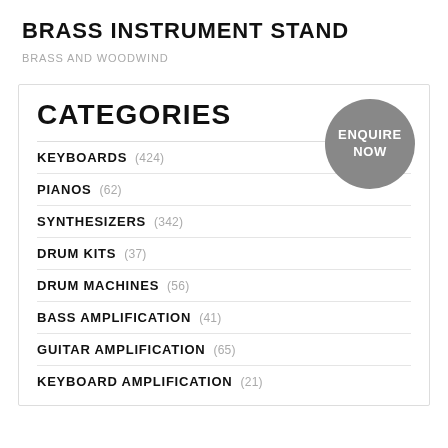BRASS INSTRUMENT STAND
BRASS AND WOODWIND
CATEGORIES
KEYBOARDS (424)
PIANOS (62)
SYNTHESIZERS (342)
DRUM KITS (37)
DRUM MACHINES (56)
BASS AMPLIFICATION (41)
GUITAR AMPLIFICATION (65)
KEYBOARD AMPLIFICATION (21)